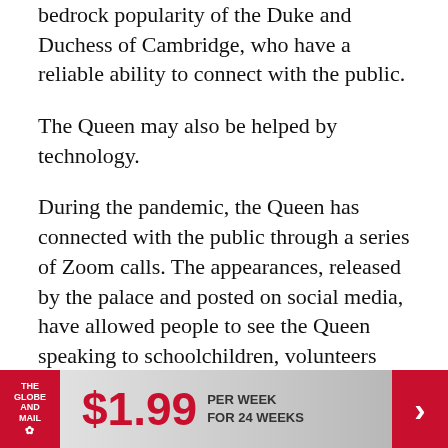bedrock popularity of the Duke and Duchess of Cambridge, who have a reliable ability to connect with the public.
The Queen may also be helped by technology.
During the pandemic, the Queen has connected with the public through a series of Zoom calls. The appearances, released by the palace and posted on social media, have allowed people to see the Queen speaking to schoolchildren, volunteers and health service officials – smiling, joking and making canny observations in a more personal way than the scripted speeches that have dominated her public life.
[Figure (other): Globe and Mail advertisement banner: $1.99 per week for 24 weeks]